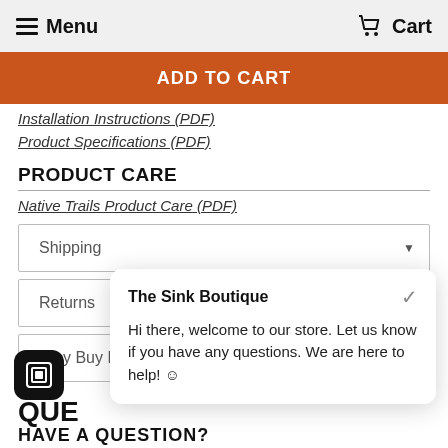Menu  Cart
ADD TO CART
Installation Instructions (PDF)
Product Specifications (PDF)
PRODUCT CARE
Native Trails Product Care (PDF)
Shipping
Returns
Why Buy From Us?
The Sink Boutique
Hi there, welcome to our store. Let us know if you have any questions. We are here to help! 😊
QUE
HAVE A QUESTION?